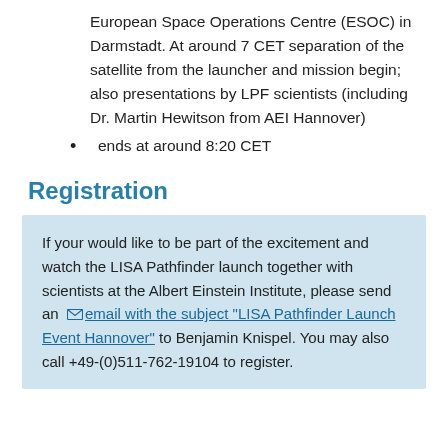European Space Operations Centre (ESOC) in Darmstadt. At around 7 CET separation of the satellite from the launcher and mission begin; also presentations by LPF scientists (including Dr. Martin Hewitson from AEI Hannover)
ends at around 8:20 CET
Registration
If your would like to be part of the excitement and watch the LISA Pathfinder launch together with scientists at the Albert Einstein Institute, please send an email with the subject "LISA Pathfinder Launch Event Hannover" to Benjamin Knispel. You may also call +49-(0)511-762-19104 to register.